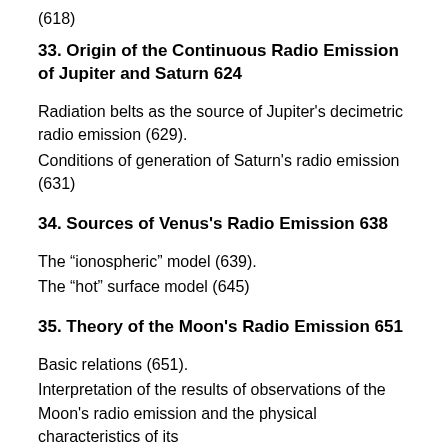(618)
33. Origin of the Continuous Radio Emission of Jupiter and Saturn 624
Radiation belts as the source of Jupiter’s decimetric radio emission (629).
Conditions of generation of Saturn’s radio emission (631)
34. Sources of Venus’s Radio Emission 638
The “ionospheric” model (639).
The “hot” surface model (645)
35. Theory of the Moon’s Radio Emission 651
Basic relations (651).
Interpretation of the results of observations of the Moon’s radio emission and the physical characteristics of its